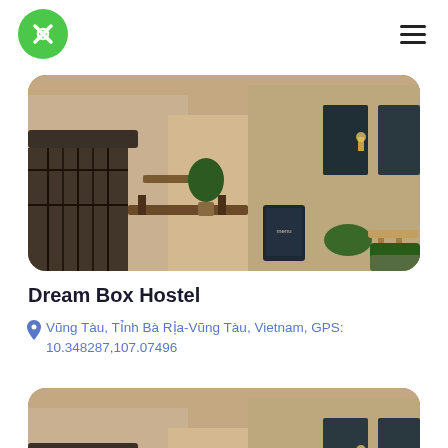[Figure (logo): Green circular logo with a stylized white X/cross shape inside, representing a travel/hostel booking app]
[Figure (photo): Street-level photo of a European-style cafe or restaurant with outdoor seating, plants, iron railings, a chalkboard sign, and warm-toned building facade]
Dream Box Hostel
Vũng Tàu, Tỉnh Bà Rịa-Vũng Tàu, Vietnam, GPS: 10.348287,107.07496
[Figure (photo): Same street-level cafe/restaurant photo cropped at top, partially visible at bottom of page]